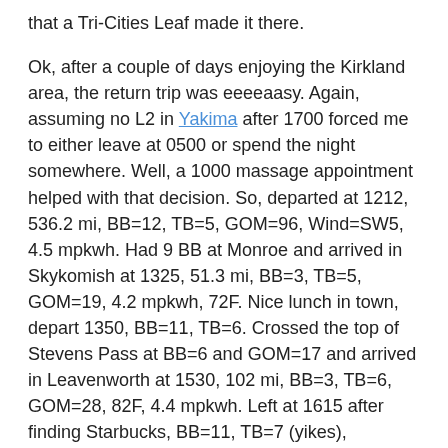that a Tri-Cities Leaf made it there.

Ok, after a couple of days enjoying the Kirkland area, the return trip was eeeeaasy. Again, assuming no L2 in Yakima after 1700 forced me to either leave at 0500 or spend the night somewhere. Well, a 1000 massage appointment helped with that decision. So, departed at 1212, 536.2 mi, BB=12, TB=5, GOM=96, Wind=SW5, 4.5 mpkwh. Had 9 BB at Monroe and arrived in Skykomish at 1325, 51.3 mi, BB=3, TB=5, GOM=19, 4.2 mpkwh, 72F. Nice lunch in town, depart 1350, BB=11, TB=6. Crossed the top of Stevens Pass at BB=6 and GOM=17 and arrived in Leavenworth at 1530, 102 mi, BB=3, TB=6, GOM=28, 82F, 4.4 mpkwh. Left at 1615 after finding Starbucks, BB=11, TB=7 (yikes), GOM=108. What's this, I spot another RED LEAF at a hotel and swing in to take a quick picture. They were from BC Canada! And, here I thought I was the big adventurer. Took US97 over Blewett Pass (yikes that's two DCQCs and 4000+ft climbs in one day) to Ellensburg (right through the